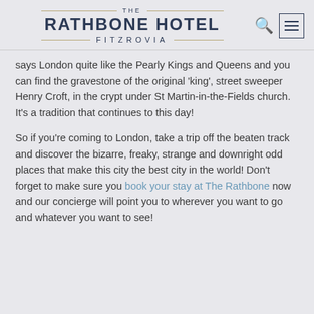THE RATHBONE HOTEL FITZROVIA
says London quite like the Pearly Kings and Queens and you can find the gravestone of the original ‘king’, street sweeper Henry Croft, in the crypt under St Martin-in-the-Fields church. It’s a tradition that continues to this day!
So if you’re coming to London, take a trip off the beaten track and discover the bizarre, freaky, strange and downright odd places that make this city the best city in the world! Don’t forget to make sure you book your stay at The Rathbone now and our concierge will point you to wherever you want to go and whatever you want to see!